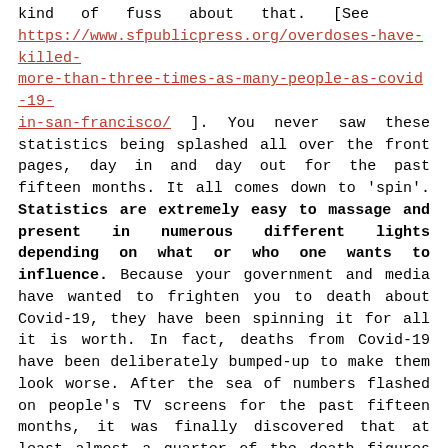kind of fuss about that. [See https://www.sfpublicpress.org/overdoses-have-killed-more-than-three-times-as-many-people-as-covid-19-in-san-francisco/ ]. You never saw these statistics being splashed all over the front pages, day in and day out for the past fifteen months. It all comes down to 'spin'. Statistics are extremely easy to massage and present in numerous different lights depending on what or who one wants to influence. Because your government and media have wanted to frighten you to death about Covid-19, they have been spinning it for all it is worth. In fact, deaths from Covid-19 have been deliberately bumped-up to make them look worse. After the sea of numbers flashed on people's TV screens for the past fifteen months, it was finally discovered that at least almost a quarter of the death figures for Covid-19 are not valid. In an article headlined, "Nearly a Quarter of Registered Covid Deaths are NOT Caused by the Virus", it was stated: